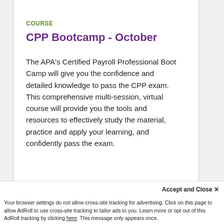COURSE
CPP Bootcamp - October
The APA's Certified Payroll Professional Boot Camp will give you the confidence and detailed knowledge to pass the CPP exam. This comprehensive multi-session, virtual course will provide you the tools and resources to effectively study the material, practice and apply your learning, and confidently pass the exam.
View Course →
Accept and Close ✕
Your browser settings do not allow cross-site tracking for advertising. Click on this page to allow AdRoll to use cross-site tracking to tailor ads to you. Learn more or opt out of this AdRoll tracking by clicking here. This message only appears once.